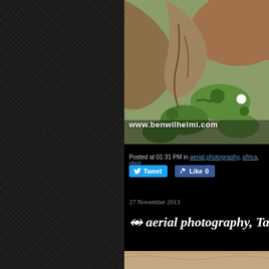[Figure (photo): Aerial photograph of African landscape with brown river/mud area, green vegetation, and rocky terrain, with watermark www.benwilhelmi.com]
Posted at 01:31 PM in aerial photography, africa, phot...
Tweet | Like 0
27 November 2013
aerial photography, Ta...
[Figure (photo): Partial aerial photograph at bottom of page showing sandy/rocky terrain]